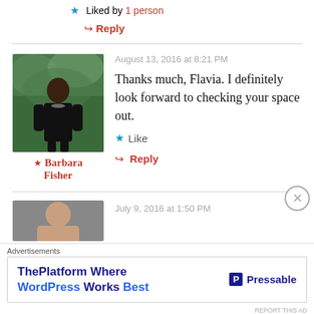★ Liked by 1 person
↪ Reply
August 13, 2016 at 8:21 PM
★ Barbara Fisher
Thanks much, Flavia. I definitely look forward to checking your space out.
★ Like
↪ Reply
July 9, 2016 at 1:50 PM
Advertisements
ThePlatform Where WordPress Works Best — Pressable